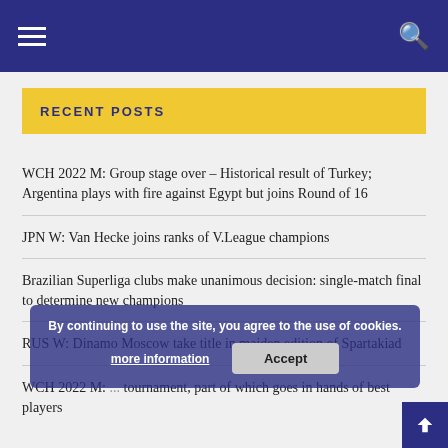Navigation header with hamburger menu and search icon
RECENT POSTS
WCH 2022 M: Group stage over – Historical result of Turkey; Argentina plays with fire against Egypt but joins Round of 16
JPN W: Van Hecke joins ranks of V.League champions
Brazilian Superliga clubs make unanimous decision: single-match final to determine new champions
RUS W: Dinamo Moscow take title in maiden edition of Spartakiad
WCH 2022 M: ... tournament, part of which goes in hands of best players
By continuing to use the site, you agree to the use of cookies.
more information
Accept